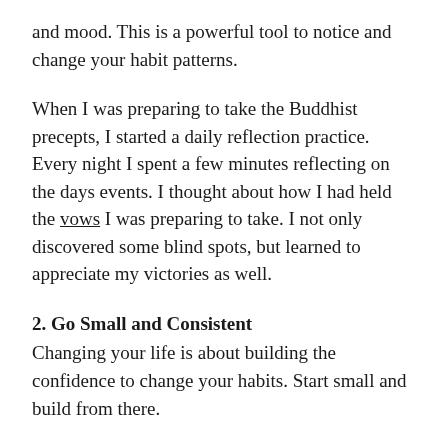and mood. This is a powerful tool to notice and change your habit patterns.
When I was preparing to take the Buddhist precepts, I started a daily reflection practice. Every night I spent a few minutes reflecting on the days events. I thought about how I had held the vows I was preparing to take. I not only discovered some blind spots, but learned to appreciate my victories as well.
2. Go Small and Consistent
Changing your life is about building the confidence to change your habits. Start small and build from there.
When I quit smoking, I didn't quit cold turkey like many people. I slowly cut back over time. Every time I wanted to smoke, I would delay as long as possible.